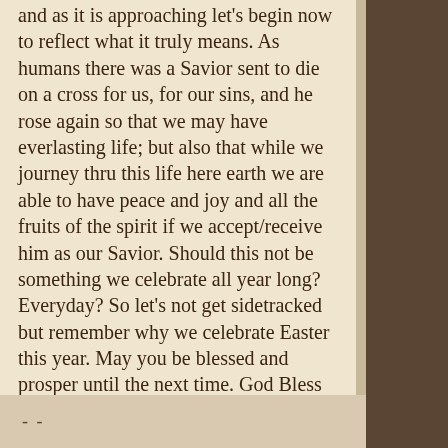and as it is approaching let's begin now to reflect what it truly means. As humans there was a Savior sent to die on a cross for us, for our sins, and he rose again so that we may have everlasting life; but also that while we journey thru this life here earth we are able to have peace and joy and all the fruits of the spirit if we accept/receive him as our Savior. Should this not be something we celebrate all year long? Everyday? So let's not get sidetracked  but remember why we celebrate Easter this year. May you be blessed and prosper until the next time. God Bless
- -